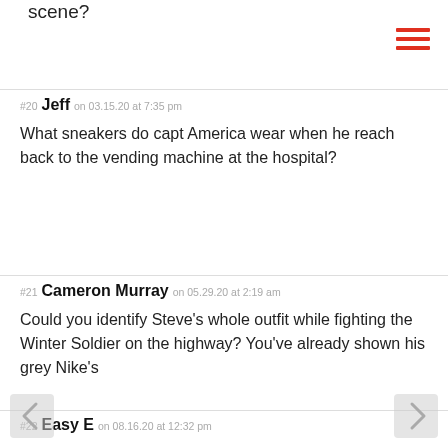scene?
#20 Jeff on 03.15.20 at 7:35 pm
What sneakers do capt America wear when he reach back to the vending machine at the hospital?
#21 Cameron Murray on 05.29.20 at 2:19 am
Could you identify Steve's whole outfit while fighting the Winter Soldier on the highway? You've already shown his grey Nike's
#22 Easy E on 08.16.20 at 12:32 pm